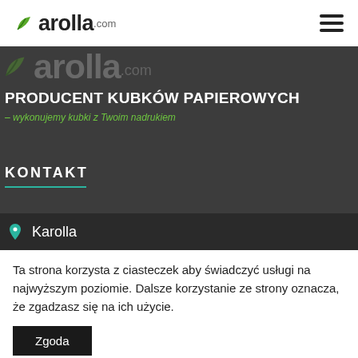Karolla.com
[Figure (logo): Karolla.com logo with green leaf icon, large background watermark version on dark hero section]
Producent kubków papierowych
– wykonujemy kubki z Twoim nadrukiem
KONTAKT
Karolla
Ta strona korzysta z ciasteczek aby świadczyć usługi na najwyższym poziomie. Dalsze korzystanie ze strony oznacza, że zgadzasz się na ich użycie.
Zgoda